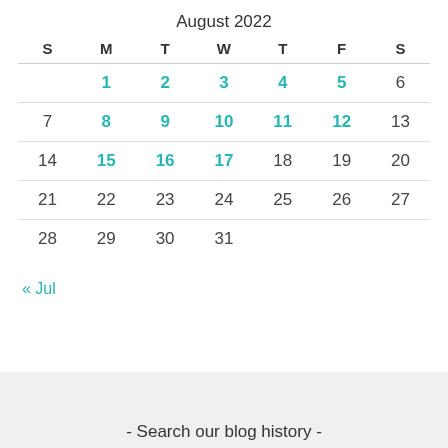August 2022
| S | M | T | W | T | F | S |
| --- | --- | --- | --- | --- | --- | --- |
|  | 1 | 2 | 3 | 4 | 5 | 6 |
| 7 | 8 | 9 | 10 | 11 | 12 | 13 |
| 14 | 15 | 16 | 17 | 18 | 19 | 20 |
| 21 | 22 | 23 | 24 | 25 | 26 | 27 |
| 28 | 29 | 30 | 31 |  |  |  |
« Jul
- Search our blog history -